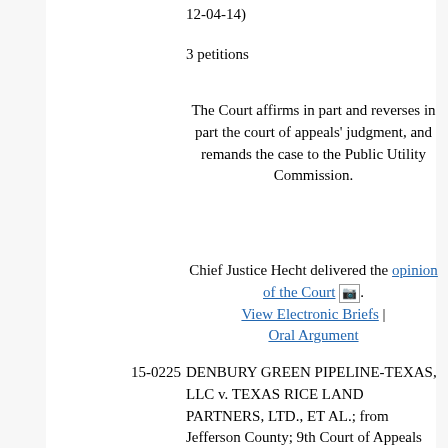12-04-14)
3 petitions
The Court affirms in part and reverses in part the court of appeals' judgment, and remands the case to the Public Utility Commission.
Chief Justice Hecht delivered the opinion of the Court. View Electronic Briefs | Oral Argument
15-0225
DENBURY GREEN PIPELINE-TEXAS, LLC v. TEXAS RICE LAND PARTNERS, LTD., ET AL.; from Jefferson County; 9th Court of Appeals District (09-14-00176-CV, 457 SW3d 115, 03-12-15)